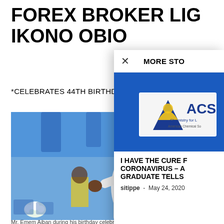FOREX BROKER LIGH IKONO OBIO
*CELEBRATES 44TH BIRTHDAY IN GR
[Figure (photo): Man in white traditional attire at an outdoor celebration with blue decorations and white flowers]
Mr. Emem Aiban during his birthday celebration
× MORE STO
[Figure (photo): ACS (American Chemical Society) logo banner on a blue background]
I HAVE THE CURE CORONAVIRUS – A GRADUATE TELLS
sitippe - May 24, 2020